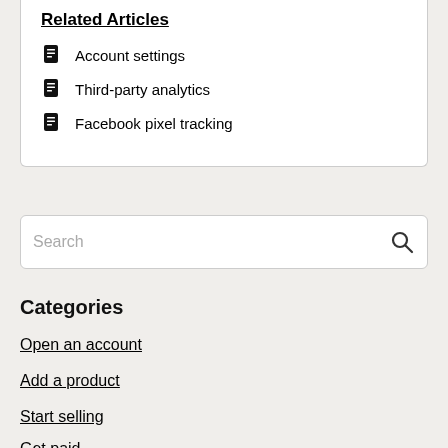Related Articles
Account settings
Third-party analytics
Facebook pixel tracking
Search
Categories
Open an account
Add a product
Start selling
Get paid